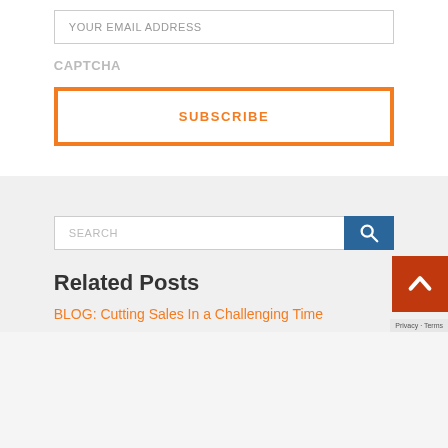YOUR EMAIL ADDRESS
CAPTCHA
SUBSCRIBE
SEARCH
Related Posts
BLOG: Cutting Sales In a Challenging Time